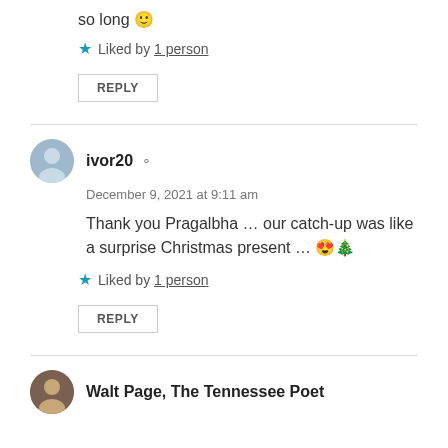so long 🙂
★ Liked by 1 person
REPLY
ivor20 — December 9, 2021 at 9:11 am
Thank you Pragalbha … our catch-up was like a surprise Christmas present … 😍🎄
★ Liked by 1 person
REPLY
Walt Page, The Tennessee Poet